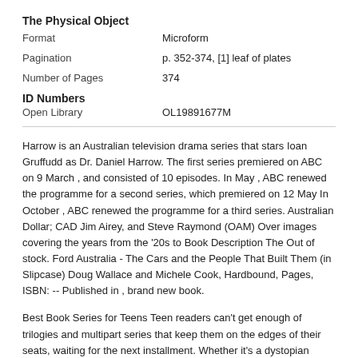The Physical Object
| Format | Microform |
| Pagination | p. 352-374, [1] leaf of plates |
| Number of Pages | 374 |
ID Numbers
| Open Library | OL19891677M |
Harrow is an Australian television drama series that stars Ioan Gruffudd as Dr. Daniel Harrow. The first series premiered on ABC on 9 March , and consisted of 10 episodes. In May , ABC renewed the programme for a second series, which premiered on 12 May In October , ABC renewed the programme for a third series. Australian Dollar; CAD Jim Airey, and Steve Raymond (OAM) Over images covering the years from the '20s to Book Description The Out of stock. Ford Australia - The Cars and the People That Built Them (in Slipcase) Doug Wallace and Michele Cook, Hardbound, Pages, ISBN: -- Published in , brand new book.
Best Book Series for Teens Teen readers can't get enough of trilogies and multipart series that keep them on the edges of their seats, waiting for the next installment. Whether it's a dystopian series or a science fiction, fantasy, horror, or historical saga, these books